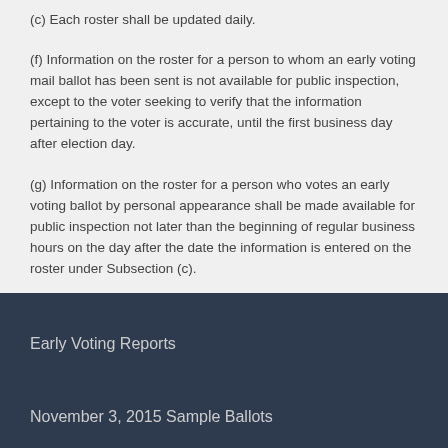(c) Each roster shall be updated daily.
(f) Information on the roster for a person to whom an early voting mail ballot has been sent is not available for public inspection, except to the voter seeking to verify that the information pertaining to the voter is accurate, until the first business day after election day.
(g) Information on the roster for a person who votes an early voting ballot by personal appearance shall be made available for public inspection not later than the beginning of regular business hours on the day after the date the information is entered on the roster under Subsection (c).
Early Voting Reports
November 3, 2015 Sample Ballots